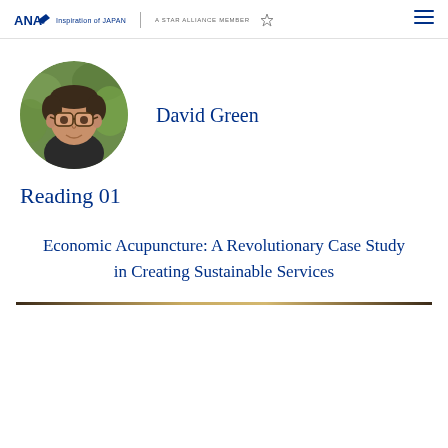ANA Inspiration of JAPAN | A STAR ALLIANCE MEMBER
[Figure (photo): Circular profile photo of David Green, a middle-aged man with glasses, wearing a dark shirt, outdoors with green foliage background]
David Green
Reading 01
Economic Acupuncture: A Revolutionary Case Study in Creating Sustainable Services